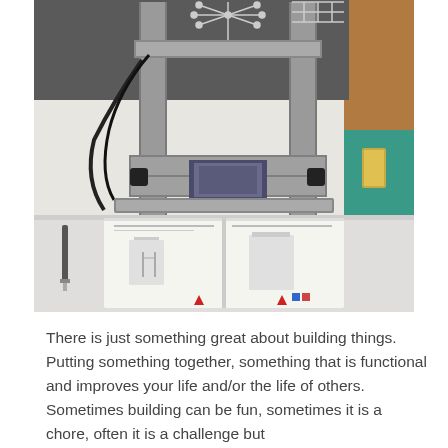[Figure (photo): A photograph showing a 3D printer or similar mechanical assembly device on a white cloth/towel surface, with black cables visible. In the foreground is an open instruction manual/book showing diagrams of the device assembly steps. A screwdriver is visible to the left side. The background shows a wooden surface and a teal/green item on the right.]
There is just something great about building things. Putting something together, something that is functional and improves your life and/or the life of others.  Sometimes building can be fun, sometimes it is a chore, often it is a challenge but